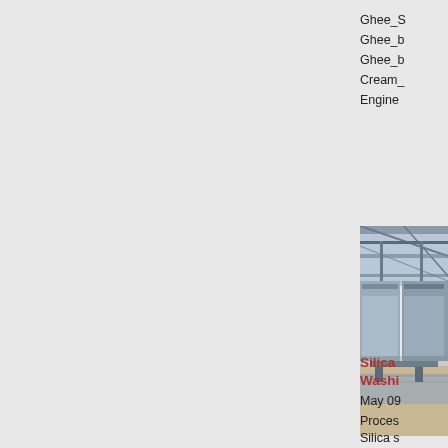Ghee_S
Ghee_b
Ghee_b
Cream_
Engine
[Figure (photo): Industrial facility interior showing large metal structures or conveyor equipment with overhead framework, appears to be a washing or processing plant]
Silica Washi
May 09
Proces
Silica s